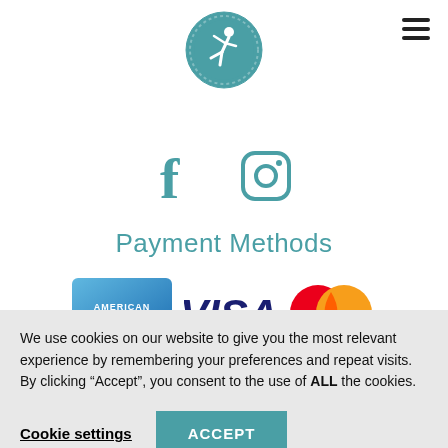[Figure (logo): Circular teal logo with a yoga/dancer figure silhouette in white, decorative border pattern around the circle]
[Figure (logo): Teal Facebook 'f' icon and teal Instagram camera outline icon, side by side as social media links]
Payment Methods
[Figure (logo): Three payment method logos: American Express (blue card logo), VISA (dark blue italic text), Mastercard (overlapping red and orange circles)]
We use cookies on our website to give you the most relevant experience by remembering your preferences and repeat visits. By clicking “Accept”, you consent to the use of ALL the cookies.
Cookie settings
ACCEPT